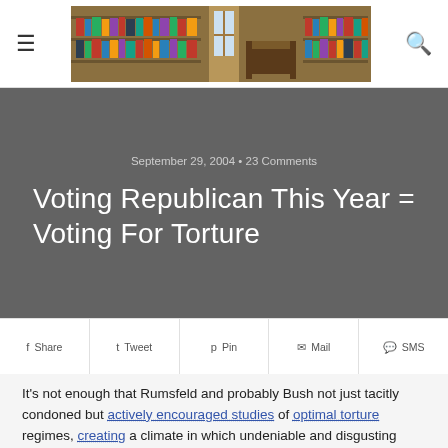≡  [Library header image]  🔍
Voting Republican This Year = Voting For Torture
September 29, 2004 • 23 Comments
Share  Tweet  Pin  Mail  SMS
It's not enough that Rumsfeld and probably Bush not just tacitly condoned but actively encouraged studies of optimal torture regimes, creating a climate in which undeniable and disgusting torture was used against Iraqi civilians, including children. And at Guantanamo (more).